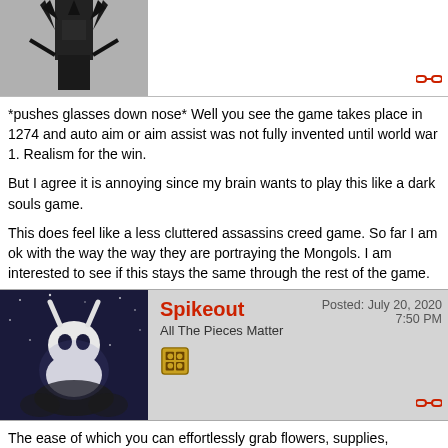[Figure (photo): Dark fantasy character avatar - black spiky figure on grey background]
*pushes glasses down nose* Well you see the game takes place in 1274 and auto aim or aim assist was not fully invented until world war 1. Realism for the win.
But I agree it is annoying since my brain wants to play this like a dark souls game.
This does feel like a less cluttered assassins creed game. So far I am ok with the way the way they are portraying the Mongols. I am interested to see if this stays the same through the rest of the game.
Spikeout
All The Pieces Matter
Posted: July 20, 2020
7:50 PM
[Figure (photo): Hollow Knight character avatar - white ghost-like knight figure on dark blue starry background]
The ease of which you can effortlessly grab flowers, supplies, bamboo etc while on your horse is a brilliant addition. Even while galloping at high speed. The way the items disintegrate when you pick them up is weirdly satisfying too.
The open world is beautiful & the atmosphere is so meditative at times. I climbed my way up to the top of a mountain to get to a shrine. I jumped onto tree branches, across a dilapidated, burning wooden bridge, until I eventually got to the top. Stunning views & a powerful charm were my